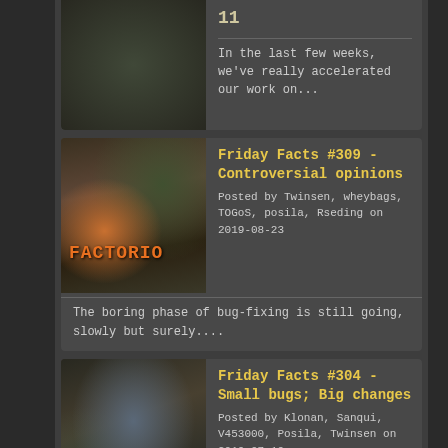11
In the last few weeks, we've really accelerated our work on...
Friday Facts #309 - Controversial opinions
Posted by Twinsen, wheybags, TOGoS, posila, Rseding on 2019-08-23
The boring phase of bug-fixing is still going, slowly but surely....
Friday Facts #304 - Small bugs; Big changes
Posted by Klonan, Sanqui, V453000, Posila, Twinsen on 2019-07-19